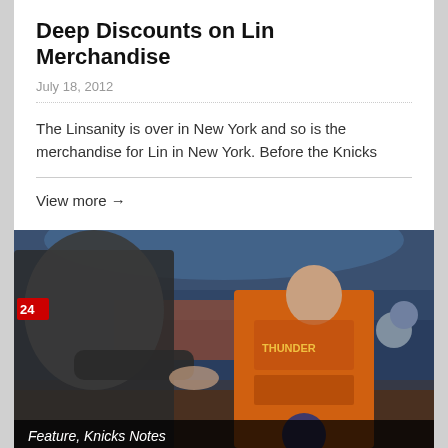Deep Discounts on Lin Merchandise
July 18, 2012
The Linsanity is over in New York and so is the merchandise for Lin in New York. Before the Knicks
View more →
[Figure (photo): Two basketball players on court, one in orange Thunder jersey, crowd in background]
Feature, Knicks Notes